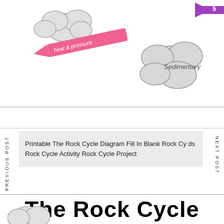[Figure (illustration): Partial view of a hand-drawn rock cycle diagram showing clouds/rocks with arrows labeled 'heat & pressure' in pink, and a rock labeled 'Sedimentary']
PREVIOUS POST
NEXT POST
Printable The Rock Cycle Diagram Fill In Blank Rock Cycle ds Rock Cycle Activity Rock Cycle Project
The Rock Cycle
Fill in the blanks to complete the rock cycle using these words:
| metamorphic rock | igneous rock | sedimentary rock |
| magma | sediment |  |
[Figure (illustration): Partial view of a hand-drawn cloud/rock shape at the bottom of the page]